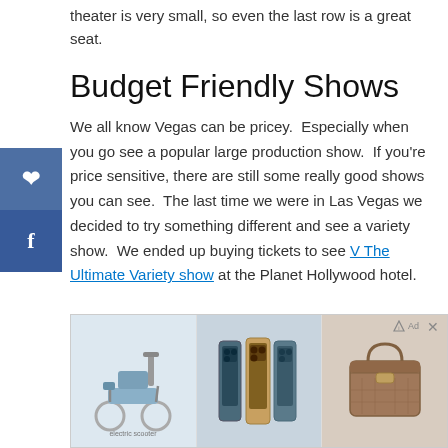theater is very small, so even the last row is a great seat.
Budget Friendly Shows
We all know Vegas can be pricey.  Especially when you go see a popular large production show.  If you're price sensitive, there are still some really good shows you can see.  The last time we were in Las Vegas we decided to try something different and see a variety show.  We ended up buying tickets to see V The Ultimate Variety show at the Planet Hollywood hotel.
[Figure (photo): Advertisement banner showing three product images: an electric scooter/bicycle on the left, three iPhones in different colors in the center, and a brown handbag on the right. Has an 'Ad' label and close button in the top right.]